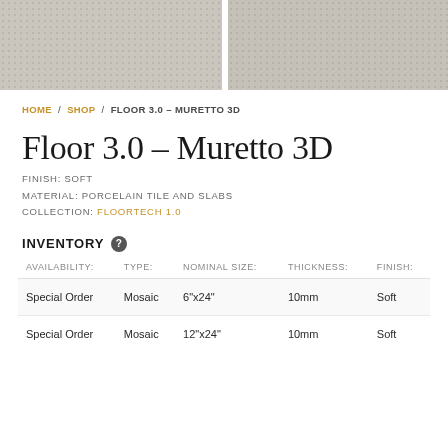[Figure (photo): Two tile samples side by side showing porcelain tile texture in soft grey/beige tones with subtle grain, separated by a white seam]
HOME / SHOP / FLOOR 3.0 – MURETTO 3D
Floor 3.0 – Muretto 3D
FINISH: SOFT
MATERIAL: PORCELAIN TILE AND SLABS
COLLECTION: FLOORTECH 1.0
INVENTORY
| AVAILABILITY: | TYPE: | NOMINAL SIZE: | THICKNESS: | FINISH: |
| --- | --- | --- | --- | --- |
| Special Order | Mosaic | 6"x24" | 10mm | Soft |
| Special Order | Mosaic | 12"x24" | 10mm | Soft |